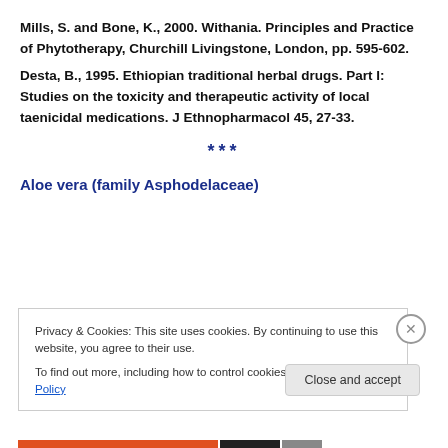Mills, S. and Bone, K., 2000. Withania. Principles and Practice of Phytotherapy, Churchill Livingstone, London, pp. 595-602.
Desta, B., 1995. Ethiopian traditional herbal drugs. Part I: Studies on the toxicity and therapeutic activity of local taenicidal medications. J Ethnopharmacol 45, 27-33.
***
Aloe vera (family Asphodelaceae)
Privacy & Cookies: This site uses cookies. By continuing to use this website, you agree to their use.
To find out more, including how to control cookies, see here: Cookie Policy
Close and accept